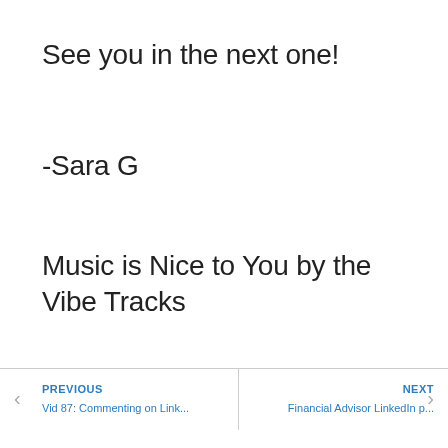See you in the next one!
-Sara G
Music is Nice to You by the Vibe Tracks
PREVIOUS
Vid 87: Commenting on Link...
NEXT
Financial Advisor LinkedIn p...